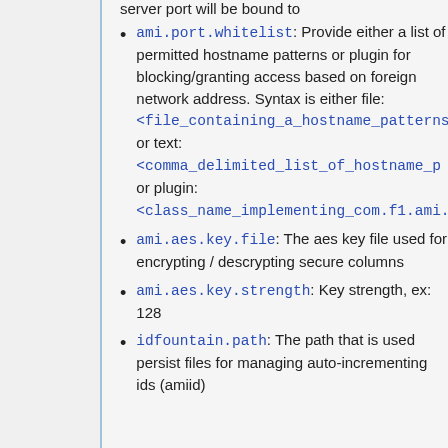server port will be bound to
ami.port.whitelist: Provide either a list of permitted hostname patterns or plugin for blocking/granting access based on foreign network address. Syntax is either file:<file_containing_a_hostname_patterns_ or text:<comma_delimited_list_of_hostname_p or plugin:<class_name_implementing_com.f1.ami.
ami.aes.key.file: The aes key file used for encrypting / descrypting secure columns
ami.aes.key.strength: Key strength, ex: 128
idfountain.path: The path that is used persist files for managing auto-incrementing ids (amiid)